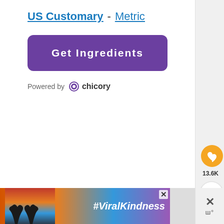US Customary - Metric
Get Ingredients
Powered by chicory
[Figure (screenshot): Heart/like button showing 13.6K likes and a share button on the right side]
[Figure (screenshot): Advertisement banner showing hands forming a heart shape with #ViralKindness text and a close button]